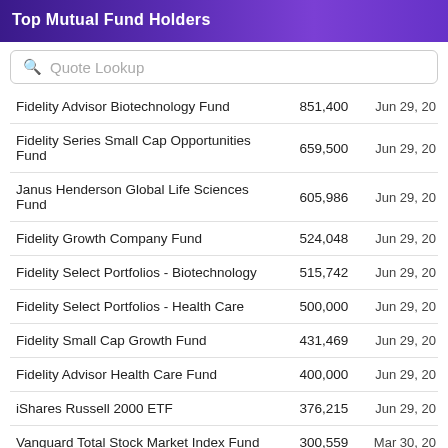Top Mutual Fund Holders
Quote Lookup
| Fund | Shares | Date |
| --- | --- | --- |
| Fidelity Advisor Biotechnology Fund | 851,400 | Jun 29, 20 |
| Fidelity Series Small Cap Opportunities Fund | 659,500 | Jun 29, 20 |
| Janus Henderson Global Life Sciences Fund | 605,986 | Jun 29, 20 |
| Fidelity Growth Company Fund | 524,048 | Jun 29, 20 |
| Fidelity Select Portfolios - Biotechnology | 515,742 | Jun 29, 20 |
| Fidelity Select Portfolios - Health Care | 500,000 | Jun 29, 20 |
| Fidelity Small Cap Growth Fund | 431,469 | Jun 29, 20 |
| Fidelity Advisor Health Care Fund | 400,000 | Jun 29, 20 |
| iShares Russell 2000 ETF | 376,215 | Jun 29, 20 |
| Vanguard Total Stock Market Index Fund | 300,559 | Mar 30, 20 |
| Fidelity Stock Selector Small Cap Fund | 266,500 | Jun 29, 20 |